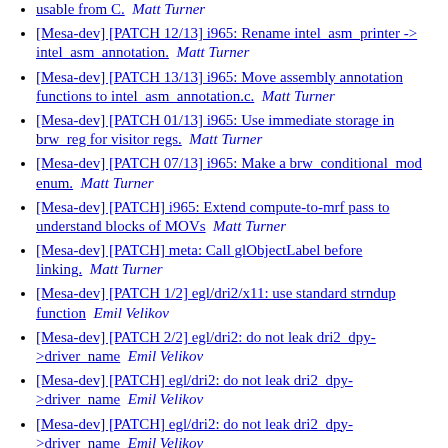[Mesa-dev] [PATCH 12/13] i965: Rename intel_asm_printer -> intel_asm_annotation.  Matt Turner
[Mesa-dev] [PATCH 13/13] i965: Move assembly annotation functions to intel_asm_annotation.c.  Matt Turner
[Mesa-dev] [PATCH 01/13] i965: Use immediate storage in brw_reg for visitor regs.  Matt Turner
[Mesa-dev] [PATCH 07/13] i965: Make a brw_conditional_mod enum.  Matt Turner
[Mesa-dev] [PATCH] i965: Extend compute-to-mrf pass to understand blocks of MOVs  Matt Turner
[Mesa-dev] [PATCH] meta: Call glObjectLabel before linking.  Matt Turner
[Mesa-dev] [PATCH 1/2] egl/dri2/x11: use standard strndup function  Emil Velikov
[Mesa-dev] [PATCH 2/2] egl/dri2: do not leak dri2_dpy->driver_name  Emil Velikov
[Mesa-dev] [PATCH] egl/dri2: do not leak dri2_dpy->driver_name  Emil Velikov
[Mesa-dev] [PATCH] egl/dri2: do not leak dri2_dpy->driver_name  Emil Velikov
[Mesa-dev] [PATCH] egl/dri2: do not leak dri2_dpy->driver_name  Emil Velikov
[Mesa-dev] [PATCH 0/2] Build a driswrast-using libGL on non-DRM targets  Emil Velikov